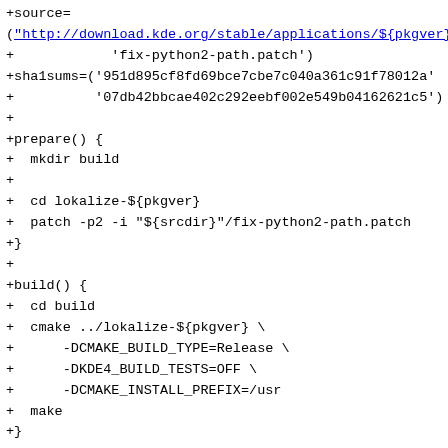+source=
("http://download.kde.org/stable/applications/${pkgver}/s
+            'fix-python2-path.patch')
+sha1sums=('951d895cf8fd69bce7cbe7c040a361c91f78012a'
+          '07db42bbcae402c292eebf002e549b04162621c5')
+
+prepare() {
+  mkdir build
+
+  cd lokalize-${pkgver}
+  patch -p2 -i "${srcdir}"/fix-python2-path.patch
+}
+
+build() {
+  cd build
+  cmake ../lokalize-${pkgver} \
+      -DCMAKE_BUILD_TYPE=Release \
+      -DKDE4_BUILD_TESTS=OFF \
+      -DCMAKE_INSTALL_PREFIX=/usr
+  make
+}
+
+package() {
+  cd build
+  make DESTDIR=$pkgdir install
+
+  # Fix python 2 path
+  sed -i 's|#!/usr/bin/env python|#!/usr/bin/env
python2|' \
+